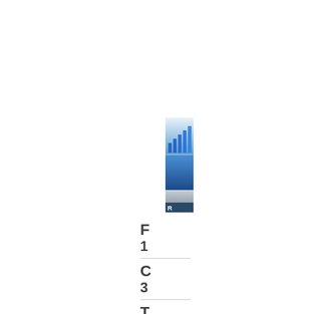[Figure (illustration): Black rectangular icon/logo at top center-right area]
[Figure (illustration): Bar chart icon with blue gradient background, showing ascending bars in blue tones, with a letter visible at the bottom]
F
1
C
3
T
3
C
6
E